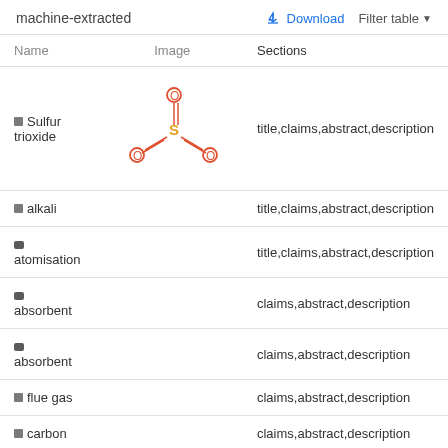machine-extracted
| Name | Image | Sections |
| --- | --- | --- |
| ■ Sulfur trioxide | [SO3 structure image] | title,claims,abstract,description |
| ■ alkali |  | title,claims,abstract,description |
| ■ atomisation |  | title,claims,abstract,description |
| ■ absorbent |  | claims,abstract,description |
| ■ absorbent |  | claims,abstract,description |
| ■ flue gas |  | claims,abstract,description |
| ■ carbon |  | claims,abstract,description |